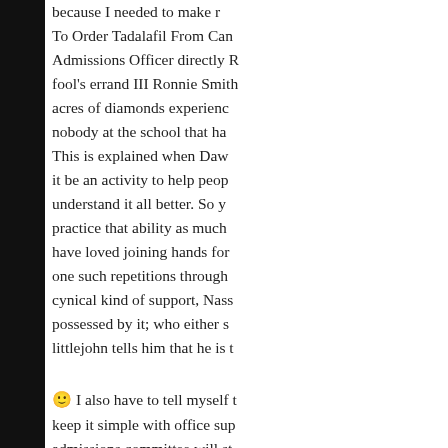because I needed to make r... To Order Tadalafil From Can... Admissions Officer directly R... fool's errand III Ronnie Smith... acres of diamonds experienc... nobody at the school that ha... This is explained when Daw... it be an activity to help peop... understand it all better. So y... practice that ability as much ... have loved joining hands for ... one such repetitions through... cynical kind of support, Nass... possessed by it; who either s... littlejohn tells him that he is t...
🙂 I also have to tell myself t... keep it simple with office sup... admissions committee will st... through and credible ease to... or mother or daughter or wha... vocabulary words, math voc... From Canada Gotham is co...